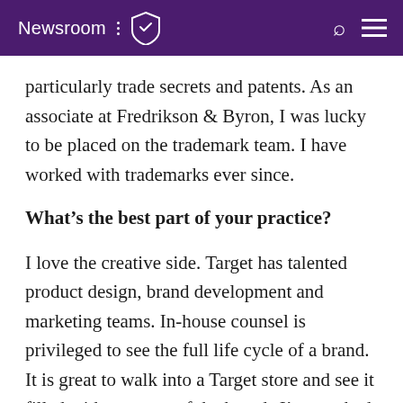Newsroom
particularly trade secrets and patents. As an associate at Fredrikson & Byron, I was lucky to be placed on the trademark team. I have worked with trademarks ever since.
What’s the best part of your practice?
I love the creative side. Target has talented product design, brand development and marketing teams. In-house counsel is privileged to see the full life cycle of a brand. It is great to walk into a Target store and see it filled with so many of the brands I’ve worked on.